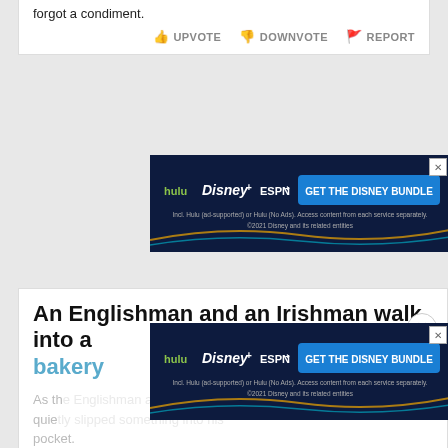forgot a condiment.
UPVOTE   DOWNVOTE   REPORT
[Figure (other): Disney Bundle advertisement: hulu, Disney+, ESPN+ logos with 'GET THE DISNEY BUNDLE' button. Text: Incl. Hulu (ad-supported) or Hulu (No Ads). Access content from each service separately. ©2021 Disney and its related entities]
An Englishman and an Irishman walk into a bakery
As th... man quiet... pocket.
[Figure (other): Disney Bundle advertisement: hulu, Disney+, ESPN+ logos with 'GET THE DISNEY BUNDLE' button. Text: Incl. Hulu (ad-supported) or Hulu (No Ads). Access content from each service separately. ©2021 Disney and its related entities]